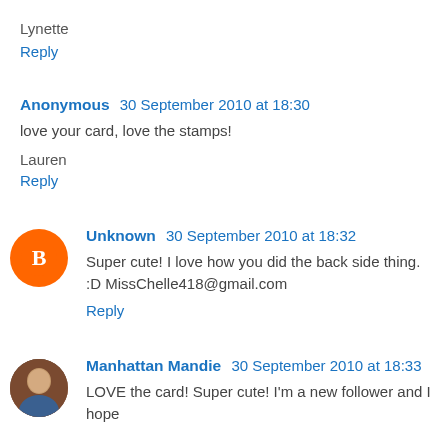Lynette
Reply
Anonymous  30 September 2010 at 18:30
love your card, love the stamps!
Lauren
Reply
Unknown  30 September 2010 at 18:32
Super cute! I love how you did the back side thing. :D MissChelle418@gmail.com
Reply
Manhattan Mandie  30 September 2010 at 18:33
LOVE the card! Super cute! I'm a new follower and I hope